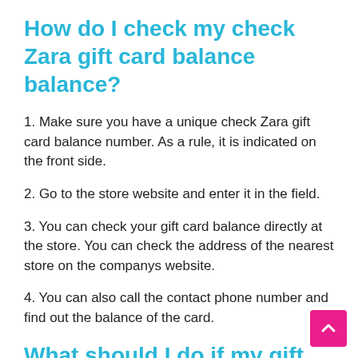How do I check my check Zara gift card balance balance?
1. Make sure you have a unique check Zara gift card balance number. As a rule, it is indicated on the front side.
2. Go to the store website and enter it in the field.
3. You can check your gift card balance directly at the store. You can check the address of the nearest store on the companys website.
4. You can also call the contact phone number and find out the balance of the card.
What should I do if my gift card is damaged?
If your check Zara gift card balance is damaged or you are unable to make purchases, we recommend contacting